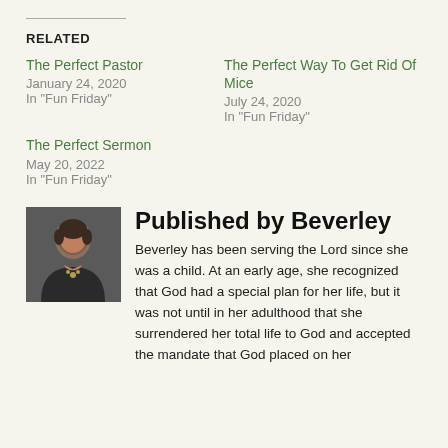RELATED
The Perfect Pastor
January 24, 2020
In "Fun Friday"
The Perfect Way To Get Rid Of Mice
July 24, 2020
In "Fun Friday"
The Perfect Sermon
May 20, 2022
In "Fun Friday"
Published by Beverley
Beverley has been serving the Lord since she was a child. At an early age, she recognized that God had a special plan for her life, but it was not until in her adulthood that she surrendered her total life to God and accepted the mandate that God placed on her...